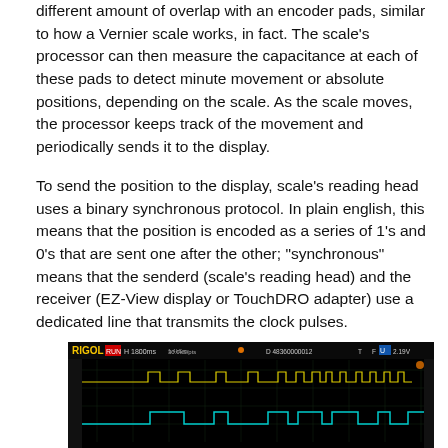different amount of overlap with an encoder pads, similar to how a Vernier scale works, in fact. The scale's processor can then measure the capacitance at each of these pads to detect minute movement or absolute positions, depending on the scale. As the scale moves, the processor keeps track of the movement and periodically sends it to the display.
To send the position to the display, scale's reading head uses a binary synchronous protocol. In plain english, this means that the position is encoded as a series of 1's and 0's that are sent one after the other; "synchronous" means that the senderd (scale's reading head) and the receiver (EZ-View display or TouchDRO adapter) use a dedicated line that transmits the clock pulses.
[Figure (screenshot): RIGOL oscilloscope screen capture showing digital clock/data signals. The display shows two channels of square wave signals (yellow and cyan) against a black background with a grid. The oscilloscope header shows RIGOL branding in yellow, H 1800ms, and various measurement parameters. The left side label reads VERTICAL and right side reads TIME.]